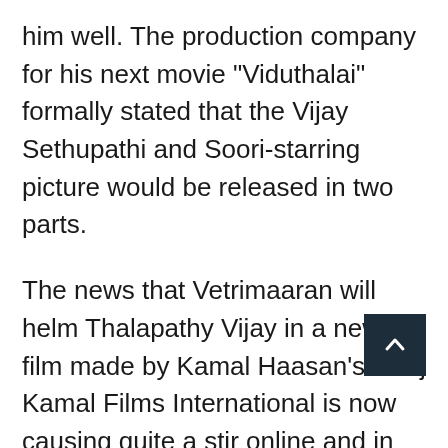him well. The production company for his next movie "Viduthalai" formally stated that the Vijay Sethupathi and Soori-starring picture would be released in two parts.
The news that Vetrimaaran will helm Thalapathy Vijay in a new film made by Kamal Haasan's Raaj Kamal Films International is now causing quite a stir online and in Kollywood. Despite the lack of an official statement, the news cannot be disregarded for a number of reasons.
First off, Vetrimaaran has sent screenplays to